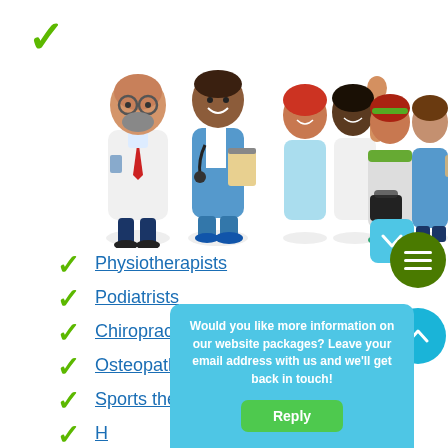[Figure (illustration): Cartoon healthcare professionals: a doctor with glasses and white coat, a male nurse/physio with stethoscope, a female physiotherapist, a male doctor raising hand, a red-haired female therapist, and a female nurse in blue scrubs holding equipment. Green checkmark in top-left corner.]
Physiotherapists
Podiatrists
Chiropractors
Osteopaths
Sports therapists
H...
O...
Would you like more information on our website packages? Leave your email address with us and we'll get back in touch!
Reply